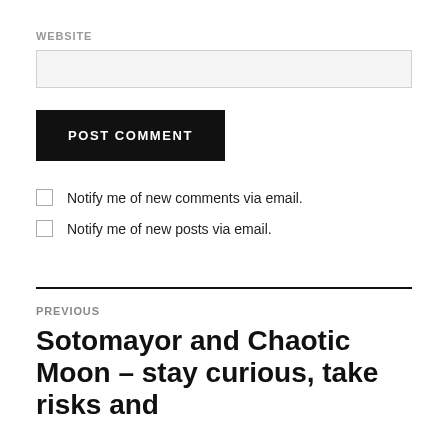WEBSITE
[Figure (other): Website input text field, empty, light grey background]
POST COMMENT
Notify me of new comments via email.
Notify me of new posts via email.
PREVIOUS
Sotomayor and Chaotic Moon – stay curious, take risks and